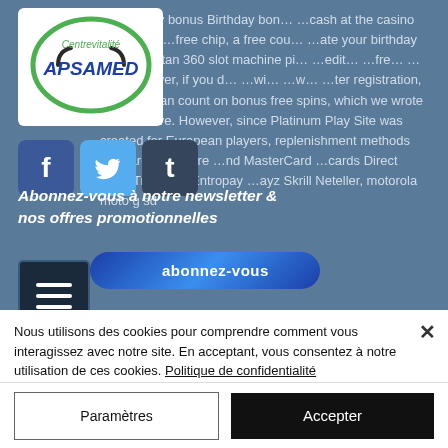[Figure (screenshot): Website background showing partial article text about casino bonuses on a blue-gray background, partially obscured by overlaid UI elements including a Centrevitalité APSAMED logo, social media icons (Facebook, Twitter, Tumblr), newsletter subscription prompt, and subscribe button with menu icon.]
Abonnez-vous à notre newsletter & nos offres promotionnelles
Nous utilisons des cookies pour comprendre comment vous interagissez avec notre site. En acceptant, vous consentez à notre utilisation de ces cookies. Politique de confidentialité
Paramètres
Accepter